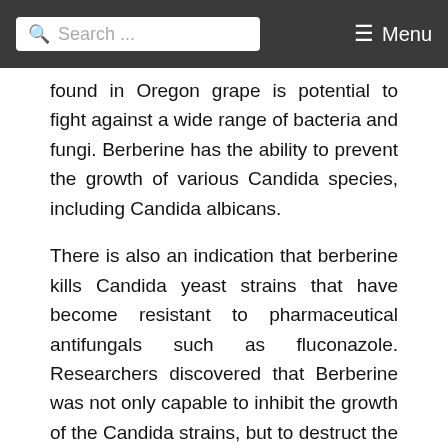Search ... Menu
found in Oregon grape is potential to fight against a wide range of bacteria and fungi. Berberine has the ability to prevent the growth of various Candida species, including Candida albicans.
There is also an indication that berberine kills Candida yeast strains that have become resistant to pharmaceutical antifungals such as fluconazole. Researchers discovered that Berberine was not only capable to inhibit the growth of the Candida strains, but to destruct the yeast cell until it could not survive. It could also destroy the Candida albicans plasma membrane.
7. Perform anti-amoebocidic